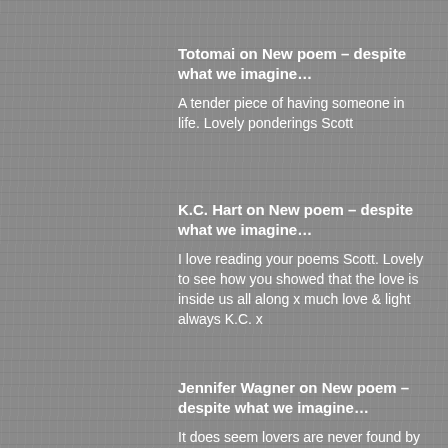Totomai on New poem – despite what we imagine…
A tender piece of having someone in life. Lovely ponderings Scott
K.C. Hart on New poem – despite what we imagine…
I love reading your poems Scott. Lovely to see how you showed that the love is inside us all along x much love & light always K.C. x
Jennifer Wagner on New poem – despite what we imagine…
It does seem lovers are never found by chance… and that trees have seen it all. Enjoyed this very much, Scott.